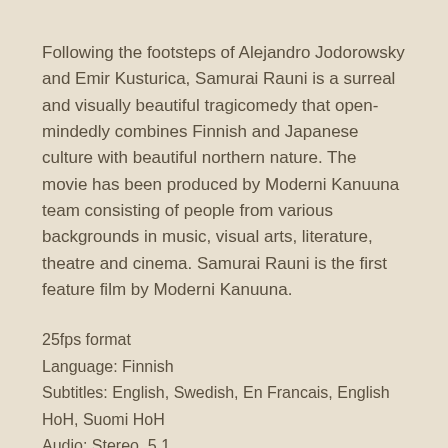Following the footsteps of Alejandro Jodorowsky and Emir Kusturica, Samurai Rauni is a surreal and visually beautiful tragicomedy that open-mindedly combines Finnish and Japanese culture with beautiful northern nature. The movie has been produced by Moderni Kanuuna team consisting of people from various backgrounds in music, visual arts, literature, theatre and cinema. Samurai Rauni is the first feature film by Moderni Kanuuna.
25fps format
Language: Finnish
Subtitles: English, Swedish, En Francais, English HoH, Suomi HoH
Audio: Stereo, 5.1